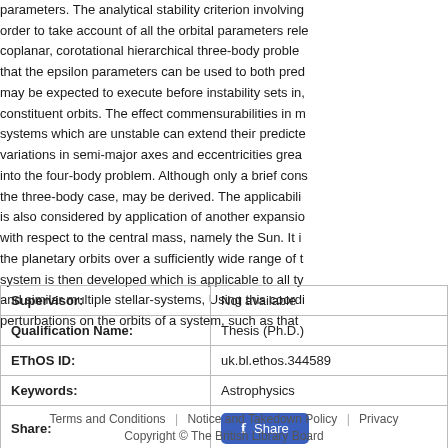parameters. The analytical stability criterion involving order to take account of all the orbital parameters rele coplanar, corotational hierarchical three-body proble that the epsilon parameters can be used to both pred may be expected to execute before instability sets in, constituent orbits. The effect commensurabilities in m systems which are unstable can extend their predicte variations in semi-major axes and eccentricities grea into the four-body problem. Although only a brief cons the three-body case, may be derived. The applicabili is also considered by application of another expansio with respect to the central mass, namely the Sun. It i the planetary orbits over a sufficiently wide range of t system is then developed which is applicable to all ty and similar multiple stellar-systems, Using this coordi perturbations on the orbits of a system, such as that
| Supervisor: | Not available |
| Qualification Name: | Thesis (Ph.D.) |
| EThOS ID: | uk.bl.ethos.344589 |
| Keywords: | Astrophysics |
| Share: | [Facebook Share button] |
Terms and Conditions | Notice and Takedown Policy | Privacy Copyright © The British Library Board